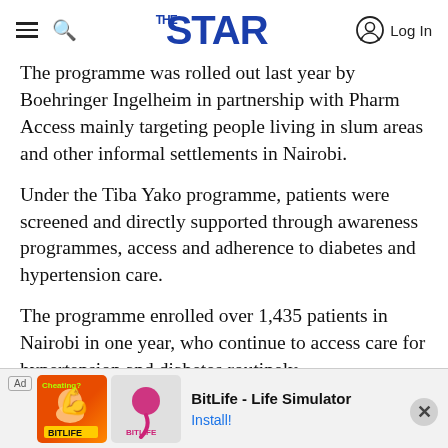THE STAR — Log In
The programme was rolled out last year by Boehringer Ingelheim in partnership with Pharm Access mainly targeting people living in slum areas and other informal settlements in Nairobi.
Under the Tiba Yako programme, patients were screened and directly supported through awareness programmes, access and adherence to diabetes and hypertension care.
The programme enrolled over 1,435 patients in Nairobi in one year, who continue to access care for hypertension and diabetes routinely.
[Figure (screenshot): Advertisement banner for BitLife - Life Simulator app with orange/red background showing a muscle emoji and sperm logo. Text: Ad, BitLife - Life Simulator, Install!]